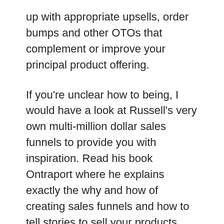up with appropriate upsells, order bumps and other OTOs that complement or improve your principal product offering.
If you're unclear how to being, I would have a look at Russell's very own multi-million dollar sales funnels to provide you with inspiration. Read his book Ontraport where he explains exactly the why and how of creating sales funnels and how to tell stories to sell your products and services.
And as you go through his own sales funnels yourself you can observe the way he goes from low-cost tripwire (Ontraport) into selling his flagship product (Ontraport).